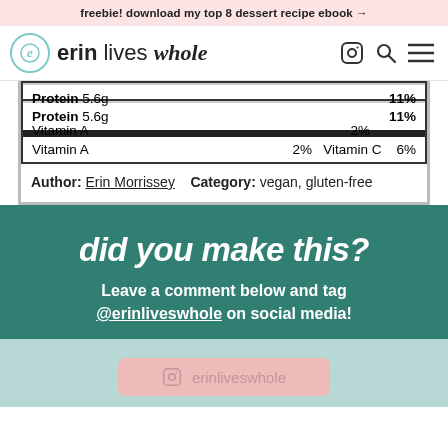freebie! download my top 8 dessert recipe ebook →
[Figure (logo): Erin Lives Whole logo with navigation icons (Instagram, search, menu)]
| Protein 5.6g |  | 11% |
| Vitamin A | 2% | Vitamin C | 6% |
Author: Erin Morrissey   Category: vegan, gluten-free
did you make this?
Leave a comment below and tag @erinliveswhole on social media!
[Figure (screenshot): Instagram button with erinliveswhole handle on light teal background]